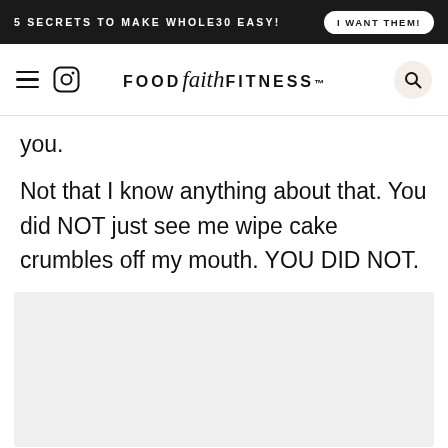5 SECRETS TO MAKE WHOLE30 EASY! | I WANT THEM!
FOOD faith FITNESS
you.
Not that I know anything about that. You did NOT just see me wipe cake crumbles off my mouth. YOU DID NOT.
[Figure (photo): Partially visible image area at bottom of page]